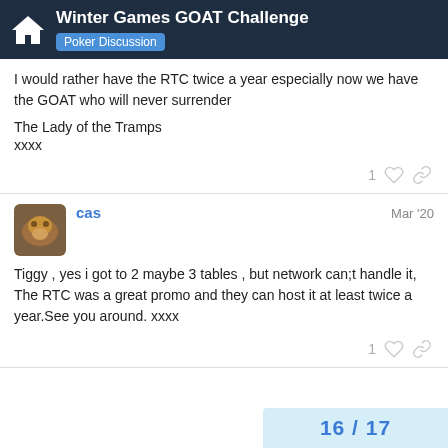Winter Games GOAT Challenge — Poker Discussion
I would rather have the RTC twice a year especially now we have the GOAT who will never surrender

The Lady of the Tramps
xxxx
1 [like] [link]
cas  Mar '20

Tiggy , yes i got to 2 maybe 3 tables , but network can;t handle it, The RTC was a great promo and they can host it at least twice a year.See you around. xxxx
1 [like] [link]
16 / 17